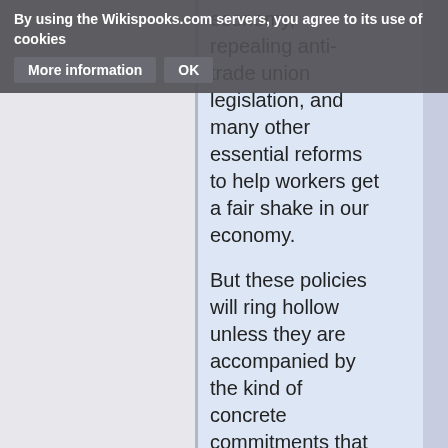By using the Wikispooks.com servers, you agree to its use of cookies  More information  OK
economy, repealing anti-trade union legislation, and many other essential reforms to help workers get a fair shake in our economy.
But these policies will ring hollow unless they are accompanied by the kind of concrete commitments that